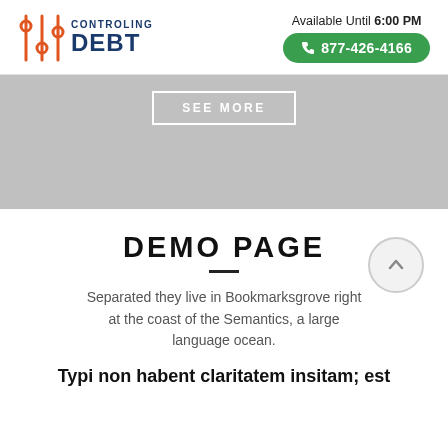[Figure (logo): Controling Debt logo with orange equalizer/slider icon and dark blue text reading CONTROLING DEBT]
Available Until 6:00 PM
☎ 877-426-4166
SEE MORE
DEMO PAGE
Separated they live in Bookmarksgrove right at the coast of the Semantics, a large language ocean.
Typi non habent claritatem insitam; est